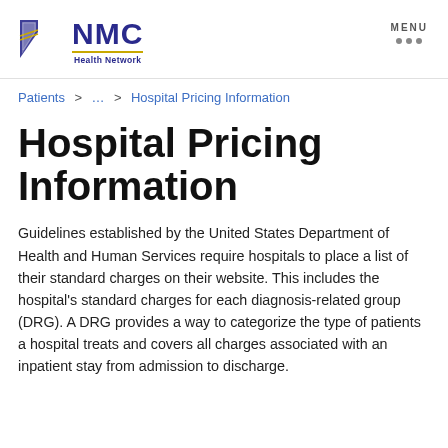[Figure (logo): NMC Health Network logo with blue flag/shield icon on left and blue NMC text with Health Network subtitle underlined in gold]
MENU
Patients > … > Hospital Pricing Information
Hospital Pricing Information
Guidelines established by the United States Department of Health and Human Services require hospitals to place a list of their standard charges on their website. This includes the hospital's standard charges for each diagnosis-related group (DRG). A DRG provides a way to categorize the type of patients a hospital treats and covers all charges associated with an inpatient stay from admission to discharge.